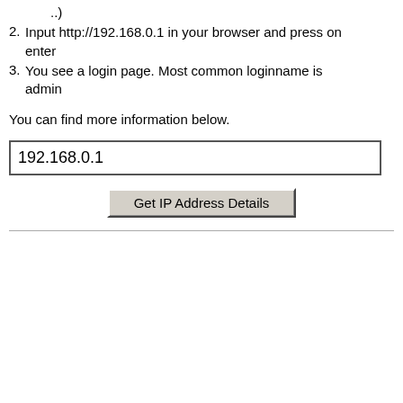..)
2. Input http://192.168.0.1 in your browser and press on enter
3. You see a login page. Most common loginname is admin
You can find more information below.
192.168.0.1
Get IP Address Details